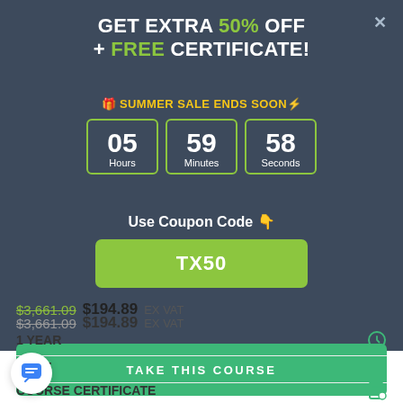GET EXTRA 50% OFF + FREE CERTIFICATE!
🎁 SUMMER SALE ENDS SOON⚡
05 Hours  59 Minutes  58 Seconds
Use Coupon Code 👇
TX50
TAKE THIS COURSE
$3,661.09 $194.89 EX VAT
1 YEAR
ANCE
COURSE CERTIFICATE